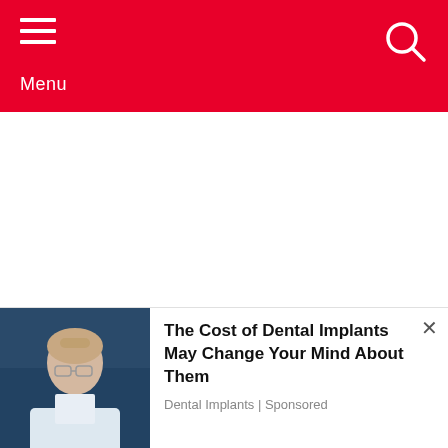Menu
YOU MAY ALSO LIKE
[Figure (photo): Dark background article card image]
[Figure (photo): Advertisement overlay showing a woman with glasses in a laboratory setting. Text: The Cost of Dental Implants May Change Your Mind About Them. Source: Dental Implants | Sponsored]